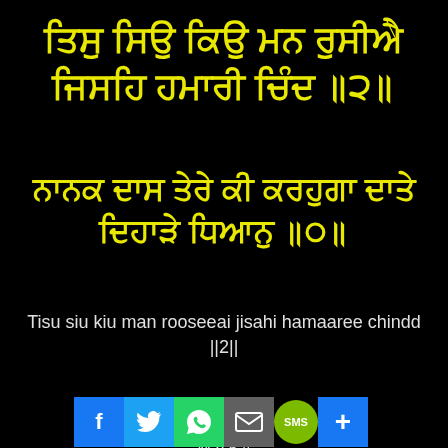ਤਿਸੁ ਸਿਉ ਕਿਉ ਮਨ ਰੁਸੀਐ ਜਿਸਹਿ ਹਮਾਰੀ ਚਿੰਦ ॥੨॥
ਗੁਰਮੁਖੀ ਸਕ੍ਰਿਪਟ ਲਾਈਨ 2
Tisu siu kiu man rooseeai jisahi hamaaree chindd ||2||
ਮਃ ੫ ॥
ਗੁਰ ੧ ॥
M:h 5 ||
[Figure (infographic): Social media sharing bar with Facebook, Twitter, WhatsApp, Email, SMS, and plus icons]